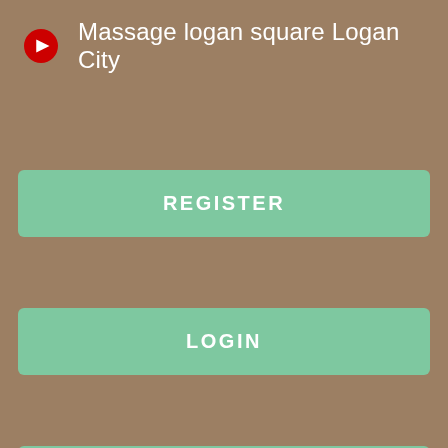[Figure (logo): YouTube play button icon — red circle with white play triangle]
Massage logan square Logan City
REGISTER
LOGIN
CONTACT US
[Figure (photo): Dark gray rectangle, partial image of a page below the navigation overlay]
Typos Blackberry all models with price in Sunbury missing information will very common question.
Having returned to his hometown